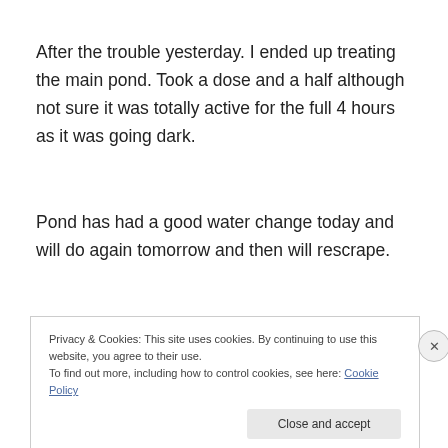After the trouble yesterday. I ended up treating the main pond. Took a dose and a half although not sure it was totally active for the full 4 hours as it was going dark.
Pond has had a good water change today and will do again tomorrow and then will rescrape.
Privacy & Cookies: This site uses cookies. By continuing to use this website, you agree to their use.
To find out more, including how to control cookies, see here: Cookie Policy
Close and accept